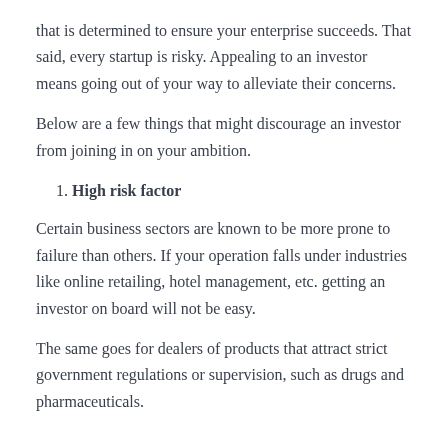that is determined to ensure your enterprise succeeds. That said, every startup is risky. Appealing to an investor means going out of your way to alleviate their concerns.
Below are a few things that might discourage an investor from joining in on your ambition.
1. High risk factor
Certain business sectors are known to be more prone to failure than others. If your operation falls under industries like online retailing, hotel management, etc. getting an investor on board will not be easy.
The same goes for dealers of products that attract strict government regulations or supervision, such as drugs and pharmaceuticals.